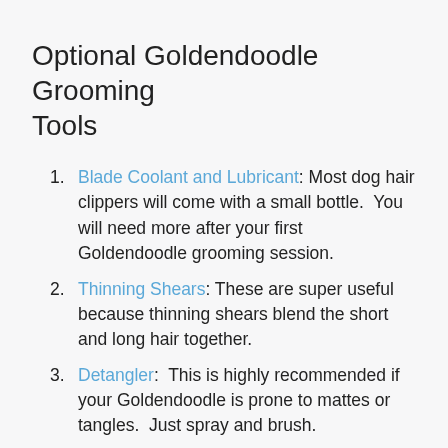Optional Goldendoodle Grooming Tools
Blade Coolant and Lubricant: Most dog hair clippers will come with a small bottle.  You will need more after your first Goldendoodle grooming session.
Thinning Shears: These are super useful because thinning shears blend the short and long hair together.
Detangler:  This is highly recommended if your Goldendoodle is prone to mattes or tangles.  Just spray and brush.
Quick Dry Dog Towel: Quick-drying towels are the best so you don't have to wait forever after you